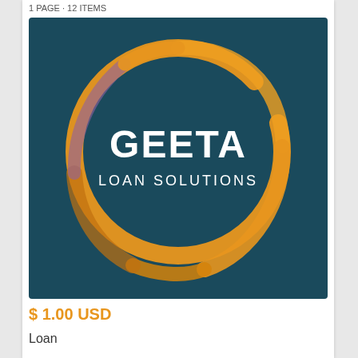1 PAGE · 12 ITEMS
[Figure (logo): Geeta Loan Solutions logo: dark teal square background with an orange brushstroke circle enclosing white text 'GEETA' in bold and 'LOAN SOLUTIONS' in smaller caps below.]
$ 1.00 USD
Loan